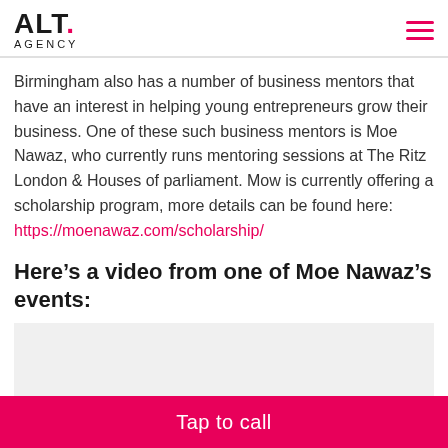ALT. AGENCY
Birmingham also has a number of business mentors that have an interest in helping young entrepreneurs grow their business. One of these such business mentors is Moe Nawaz, who currently runs mentoring sessions at The Ritz London & Houses of parliament. Mow is currently offering a scholarship program, more details can be found here: https://moenawaz.com/scholarship/
Here’s a video from one of Moe Nawaz’s events:
[Figure (other): Embedded video placeholder area (blank/empty)]
Tap to call